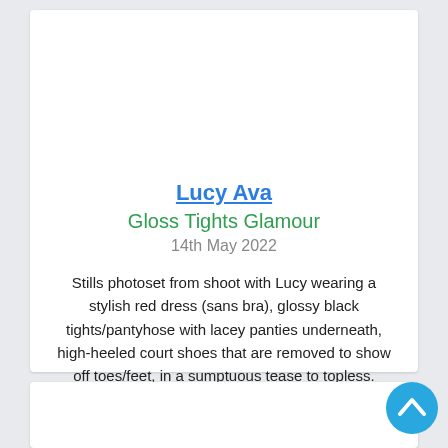Lucy Ava
Gloss Tights Glamour
14th May 2022
Stills photoset from shoot with Lucy wearing a stylish red dress (sans bra), glossy black tights/pantyhose with lacey panties underneath, high-heeled court shoes that are removed to show off toes/feet, in a sumptuous tease to topless.
[Figure (other): Scroll-to-top button (blue circle with upward chevron)]